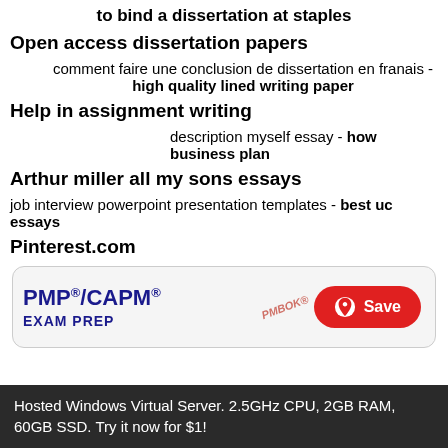to bind a dissertation at staples
Open access dissertation papers
comment faire une conclusion de dissertation en franais - high quality lined writing paper
Help in assignment writing
description myself essay - how business plan
Arthur miller all my sons essays
job interview powerpoint presentation templates - best uc essays
Pinterest.com
[Figure (screenshot): Pinterest card showing PMP/CAPM Exam Prep with a red Save button]
Hosted Windows Virtual Server. 2.5GHz CPU, 2GB RAM, 60GB SSD. Try it now for $1!